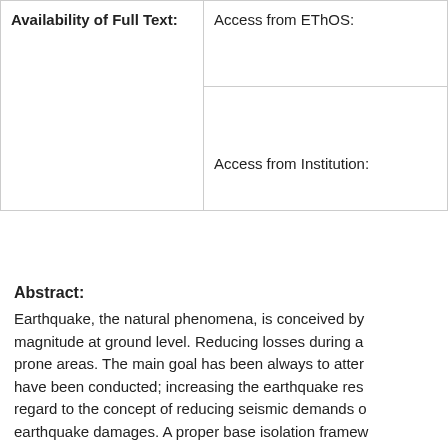| Availability of Full Text: |  |
| --- | --- |
|  | Access from EThOS:

Access from Institution: |
Abstract:
Earthquake, the natural phenomena, is conceived by magnitude at ground level. Reducing losses during a prone areas. The main goal has been always to atter have been conducted; increasing the earthquake res regard to the concept of reducing seismic demands c earthquake damages. A proper base isolation framew able to remain in elastic mode during an earthquake. seismic performance. The majority of currently availa functionality of a structural system and impose some level of performances. In this dissertation, an innovat computer simulation to introduce a practical and effe drawbacks of current seismic isolation system whilst incorporates air-bearing benefits together with roller b experimental study was carried out to test a scale str behaviour of the structure with and without isolation s fundamental frequencies and damping through a free the structure when it is subjected to three different ty isolated). The simulation was performed to gain an im Results from computer simulation were compared an isolation system offers a significant reduction in accel